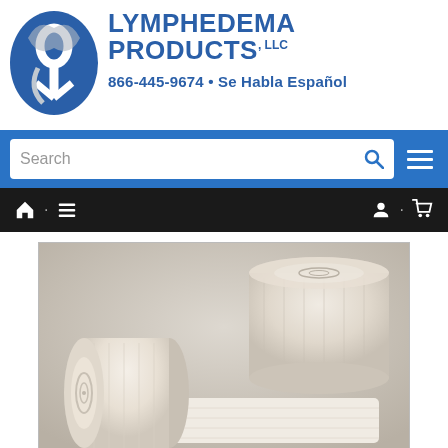[Figure (logo): Lymphedema Products LLC circular blue logo with stylized figure/ribbon design]
LYMPHEDEMA PRODUCTS, LLC
866-445-9674 • Se Habla Español
[Figure (screenshot): Website search bar on blue background with search input field and hamburger menu icon]
[Figure (screenshot): Black navigation bar with home icon, menu icon, user icon, and cart icon]
[Figure (photo): Two rolls of beige elastic compression bandages, one upright in background and one lying in foreground partially unrolled]